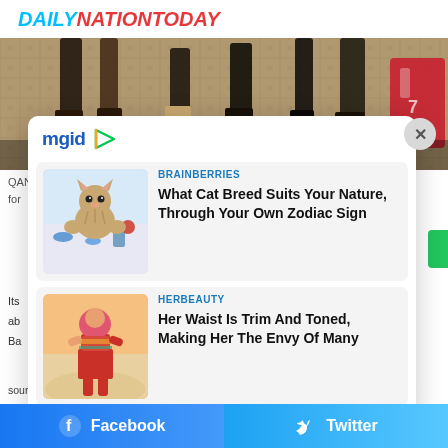DAILYNATIONTODAY
[Figure (photo): Background photo showing people's legs and feet on a patterned carpet/rug floor]
QAN... strange conspiracy theory tied to the fate of form... President Donald T...
[Figure (screenshot): MGID advertisement overlay widget containing two sponsored article cards: 1) BRAINBERRIES - What Cat Breed Suits Your Nature, Through Your Own Zodiac Sign (with cat photo); 2) HERBEAUTY - Her Waist Is Trim And Toned, Making Her The Envy Of Many (with woman photo)]
Its
ab
Ba
source: T... witch is found to talk the world's secret... At many...
Facebook  Twitter